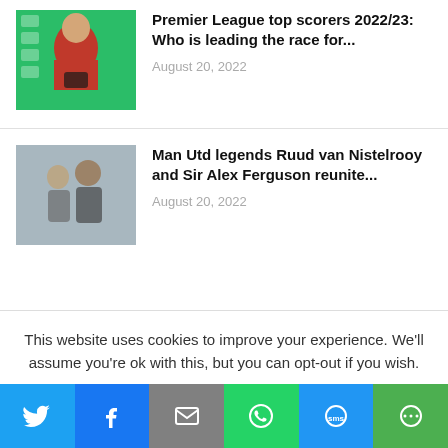[Figure (photo): Thumbnail photo of a footballer in red Premier League jersey holding an award, green background with Premier League logos]
Premier League top scorers 2022/23: Who is leading the race for...
August 20, 2022
[Figure (photo): Thumbnail photo of two men posing together, appears to be Man Utd related context]
Man Utd legends Ruud van Nistelrooy and Sir Alex Ferguson reunite...
August 20, 2022
This website uses cookies to improve your experience. We'll assume you're ok with this, but you can opt-out if you wish.